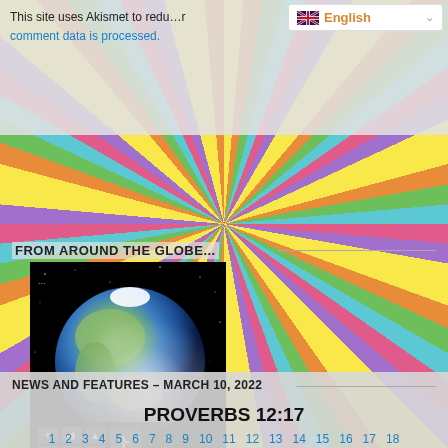This site uses Akismet to reduce spam. Learn how your comment data is processed.
[Figure (screenshot): Language selector dropdown showing English with UK flag and yellow dropdown arrow]
FROM AROUND THE GLOBE...
[Figure (illustration): Globe widget showing Earth from space with navigation controls and revolvermaps label. Black background with stars. Controls show +, arrows, and compass. Bottom label reads 'revolvermaps'.]
NEWS AND FEATURES – MARCH 10, 2022
PROVERBS 12:17
1  2  3  4  5  6  7  8  9  10  11  12  13  14  15  16  17  18